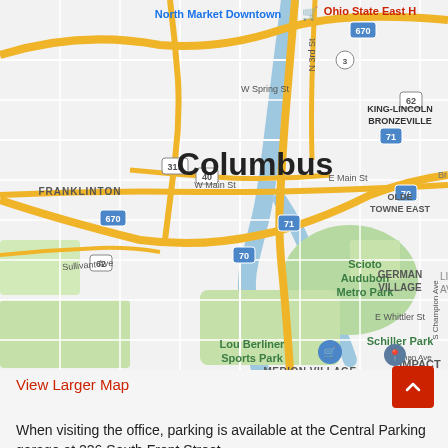[Figure (map): Google Maps screenshot showing downtown Columbus, Ohio and surrounding neighborhoods including Franklinton, German Village, Scioto Audubon Metro Park, Schiller Park, Lou Berliner Sports Park, Merion Village, King-Lincoln Bronzeville, Olde Towne East. Highways 670, 70, 71, 315, 40, 62, 3 visible. North Market Downtown and Ohio State East H... labels visible. IMPACT Commu... pin visible.]
View Larger Map
When visiting the office, parking is available at the Central Parking garage at 226 South Front Street.